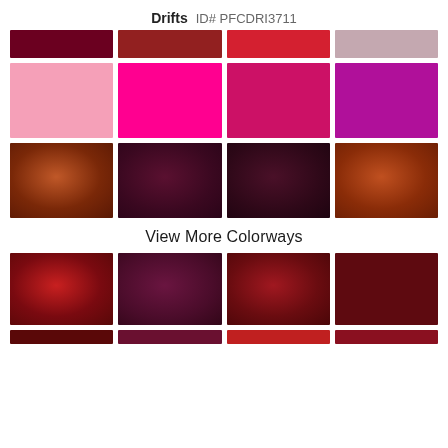Drifts  ID# PFCDRI3711
[Figure (other): Grid of color swatches in reds, pinks, and purples showing carpet/fabric colorways for 'Drifts' ID# PFCDRI3711]
View More Colorways
[Figure (other): Grid of deep red and burgundy carpet color swatches showing more colorways]